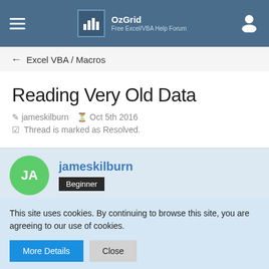OzGrid Free Excel/VBA Help Forum
← Excel VBA / Macros
Reading Very Old Data
jameskilburn   Oct 5th 2016
Thread is marked as Resolved.
jameskilburn
Beginner
Oct 5th 2016
This site uses cookies. By continuing to browse this site, you are agreeing to our use of cookies.